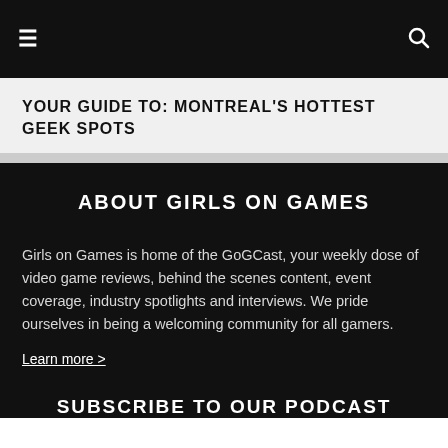≡  🔍
YOUR GUIDE TO: MONTREAL'S HOTTEST GEEK SPOTS
ABOUT GIRLS ON GAMES
Girls on Games is home of the GoGCast, your weekly dose of video game reviews, behind the scenes content, event coverage, industry spotlights and interviews. We pride ourselves in being a welcoming community for all gamers.
Learn more >
SUBSCRIBE TO OUR PODCAST